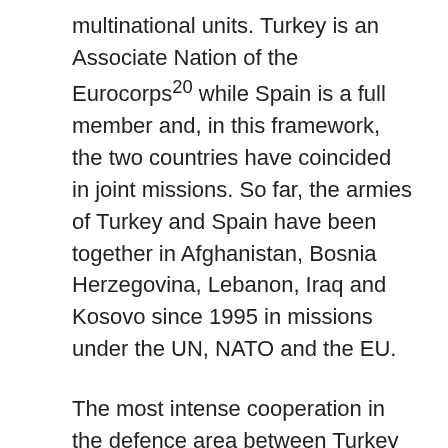multinational units. Turkey is an Associate Nation of the Eurocorps²⁰ while Spain is a full member and, in this framework, the two countries have coincided in joint missions. So far, the armies of Turkey and Spain have been together in Afghanistan, Bosnia Herzegovina, Lebanon, Iraq and Kosovo since 1995 in missions under the UN, NATO and the EU.
The most intense cooperation in the defence area between Turkey and Spain is in NATO’s naval groups for surveillance in the Mediterranean and Black Seas. As for operational cooperation, it is important to underline the significance of the presence of Spanish troops in Turkey under NATO’s Active Fence operation.²¹ The Spanish Cabinet agreed to deploy a Patriot battery to Turkey, operative since January 2015. The move has increased the presence of officials from the Ministry